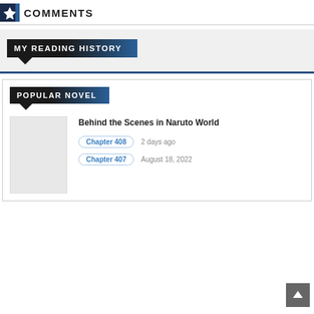COMMENTS
MY READING HISTORY
POPULAR NOVEL
Behind the Scenes in Naruto World
Chapter 408    2 days ago
Chapter 407    August 18, 2022